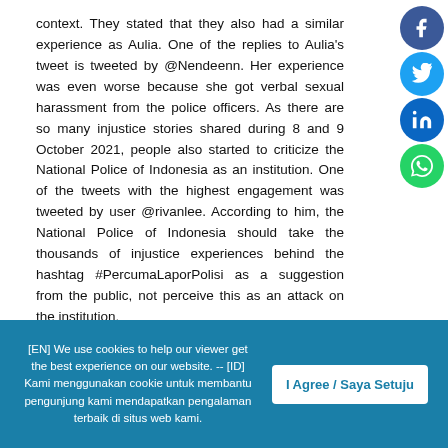context. They stated that they also had a similar experience as Aulia. One of the replies to Aulia's tweet is tweeted by @Nendeenn. Her experience was even worse because she got verbal sexual harassment from the police officers. As there are so many injustice stories shared during 8 and 9 October 2021, people also started to criticize the National Police of Indonesia as an institution. One of the tweets with the highest engagement was tweeted by user @rivanlee. According to him, the National Police of Indonesia should take the thousands of injustice experiences behind the hashtag #PercumaLaporPolisi as a suggestion from the public, not perceive this as an attack on the institution.
[EN] We use cookies to help our viewer get the best experience on our website. -- [ID] Kami menggunakan cookie untuk membantu pengunjung kami mendapatkan pengalaman terbaik di situs web kami.
I Agree / Saya Setuju